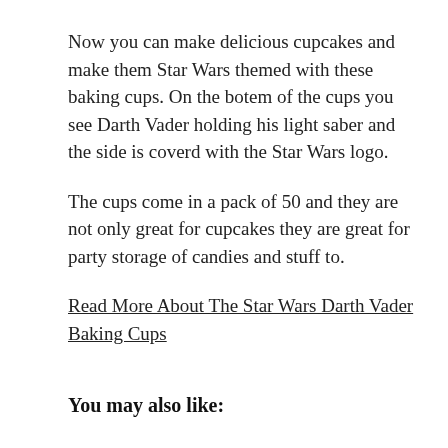Now you can make delicious cupcakes and make them Star Wars themed with these baking cups. On the botem of the cups you see Darth Vader holding his light saber and the side is coverd with the Star Wars logo.
The cups come in a pack of 50 and they are not only great for cupcakes they are great for party storage of candies and stuff to.
Read More About The Star Wars Darth Vader Baking Cups
You may also like: